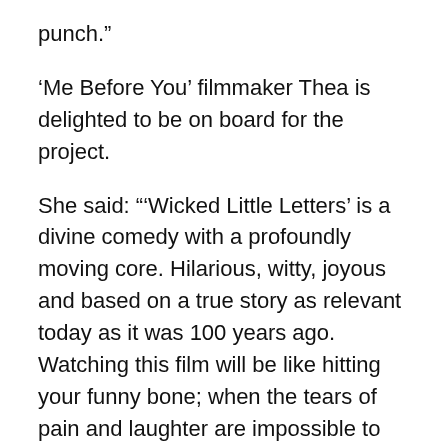punch.”
‘Me Before You’ filmmaker Thea is delighted to be on board for the project.
She said: “‘Wicked Little Letters’ is a divine comedy with a profoundly moving core. Hilarious, witty, joyous and based on a true story as relevant today as it was 100 years ago. Watching this film will be like hitting your funny bone; when the tears of pain and laughter are impossible to separate.
“Olivia Colman is hilarious, brilliant and brave. In the part of Edith, she will continue to show her extraordinary dexterity as an actor with her unique